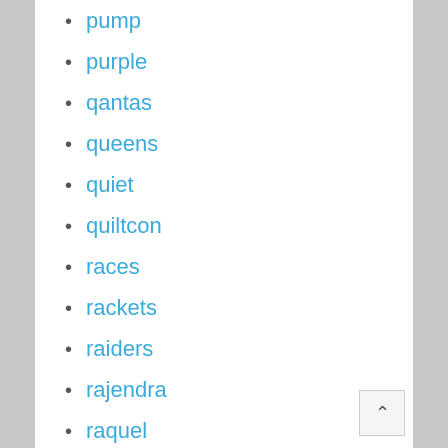pump
purple
qantas
queens
quiet
quiltcon
races
rackets
raiders
rajendra
raquel
rare
raven
ready
reap
rear
rebecca
reckless